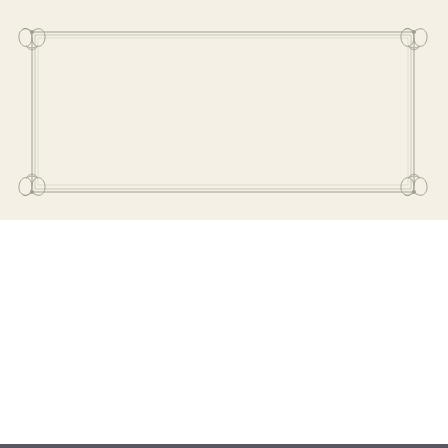[Figure (illustration): Top section: cream/ivory background with decorative rectangular border frame featuring ornate corner knot/scroll decorations at corners, drawn in gray line art style. The frame has double lines with elegant corner embellishments.]
[Figure (illustration): Bottom section on dark gray (#5a5660) background containing three wedding stationery cards: (1) Left large card - white background with green botanical/floral illustrations at top and bottom, text reads 'WEDDING INVITATION template' in small caps, then 'ISABELLA' in large gold serif, '&' in large gold italic, 'MICHAEL' in large gold serif, followed by address lines and 'BROOKLYN BOTANIC GARDEN / AUGUST 3, 2017' in small gray text. (2) Right top card - white background with circular wreath of green botanical illustrations, center text 'SAVE THE DATE' bold uppercase, below 'ISABELLA & MICHAEL / AUGUST 3, 2017' in gold. (3) Right bottom card - white background with green botanical sprigs at bottom, 'RECEPTION' in large gold uppercase, address lines in gray, time in gray.]